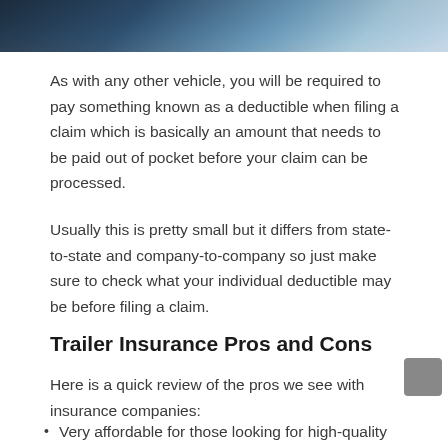[Figure (photo): Partial photo showing documents or vehicle-related materials, dark to light gradient, mostly cropped at top of page]
As with any other vehicle, you will be required to pay something known as a deductible when filing a claim which is basically an amount that needs to be paid out of pocket before your claim can be processed.
Usually this is pretty small but it differs from state-to-state and company-to-company so just make sure to check what your individual deductible may be before filing a claim.
Trailer Insurance Pros and Cons
Here is a quick review of the pros we see with insurance companies:
Very affordable for those looking for high-quality coverage
Comprehensive, medical and liability protection available
Includes full-timer (full time snowbird) insurance as well as